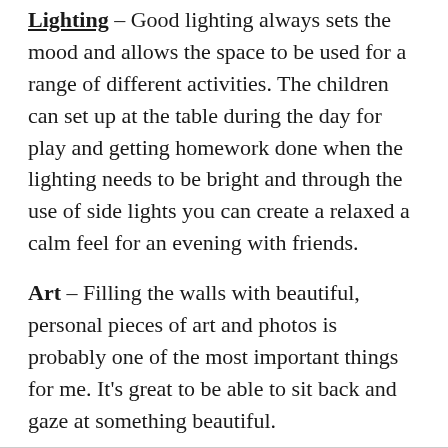Lighting – Good lighting always sets the mood and allows the space to be used for a range of different activities. The children can set up at the table during the day for play and getting homework done when the lighting needs to be bright and through the use of side lights you can create a relaxed a calm feel for an evening with friends.
Art – Filling the walls with beautiful, personal pieces of art and photos is probably one of the most important things for me. It's great to be able to sit back and gaze at something beautiful.